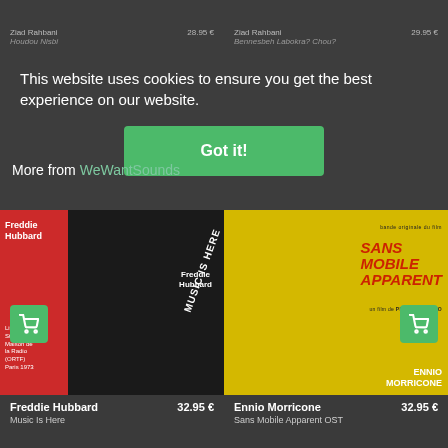This website uses cookies to ensure you get the best experience on our website.
Got it!
More from WeWantSounds
Ziad Rahbani
Houdou Nisbi
29.95 €
Ziad Rahbani
Bennesbeh Labokra? Chou?
29.95 €
[Figure (photo): Freddie Hubbard - Music Is Here album cover. Red left panel with artist name and live recording info, dark right panel with trumpet player photo.]
Freddie Hubbard
32.95 €
Music Is Here
[Figure (photo): Ennio Morricone - Sans Mobile Apparent OST album cover. Yellow background with gun and figures, red bold title text.]
Ennio Morricone
32.95 €
Sans Mobile Apparent OST